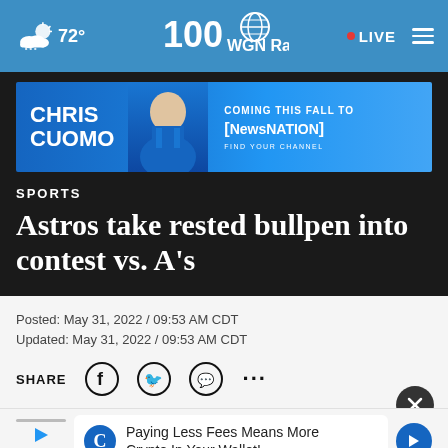72° WGN Radio • LIVE
[Figure (screenshot): Advertisement banner for Chris Cuomo Coming This Fall to NewsNation]
SPORTS
Astros take rested bullpen into contest vs. A's
Posted: May 31, 2022 / 09:53 AM CDT
Updated: May 31, 2022 / 09:53 AM CDT
SHARE
[Figure (infographic): Advertisement: Paying Less Fees Means More Crypto In Your Wallet!]
The visiting Houston Astros will have a rested bullpen